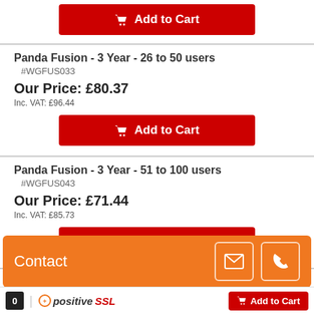[Figure (screenshot): E-commerce product listing page showing Panda Fusion software packages with prices and Add to Cart buttons]
Panda Fusion - 3 Year - 26 to 50 users
#WGFUS033
Our Price: £80.37
Inc. VAT: £96.44
Add to Cart
Panda Fusion - 3 Year - 51 to 100 users
#WGFUS043
Our Price: £71.44
Inc. VAT: £85.73
Add to Cart
Panda Fusion - 3 Year - 101 to 250 users
#WGFUS053
Our Price: £64.65
Contact
[Figure (logo): PositiveSSL trust badge]